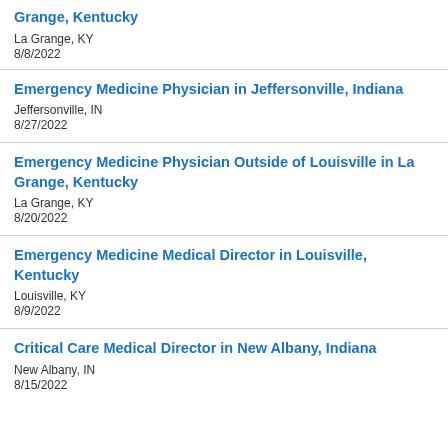Grange, Kentucky
La Grange, KY
8/8/2022
Emergency Medicine Physician in Jeffersonville, Indiana
Jeffersonville, IN
8/27/2022
Emergency Medicine Physician Outside of Louisville in La Grange, Kentucky
La Grange, KY
8/20/2022
Emergency Medicine Medical Director in Louisville, Kentucky
Louisville, KY
8/9/2022
Critical Care Medical Director in New Albany, Indiana
New Albany, IN
8/15/2022